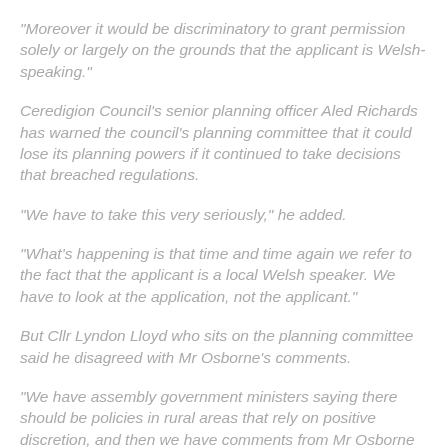"Moreover it would be discriminatory to grant permission solely or largely on the grounds that the applicant is Welsh-speaking."
Ceredigion Council's senior planning officer Aled Richards has warned the council's planning committee that it could lose its planning powers if it continued to take decisions that breached regulations.
"We have to take this very seriously," he added.
"What's happening is that time and time again we refer to the fact that the applicant is a local Welsh speaker. We have to look at the application, not the applicant."
But Cllr Lyndon Lloyd who sits on the planning committee said he disagreed with Mr Osborne's comments.
"We have assembly government ministers saying there should be policies in rural areas that rely on positive discretion, and then we have comments from Mr Osborne